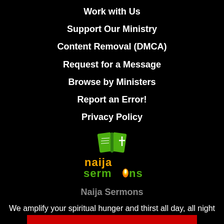Work with Us
Support Our Ministry
Content Removal (DMCA)
Request for a Message
Browse by Ministers
Report an Error!
Privacy Policy
[Figure (logo): Naija Sermons logo: green open Bible with cross, orange flame, text 'naija sermons' in green and orange letters]
Naija Sermons
We amplify your spiritual hunger and thirst all day, all night with powerful messages.